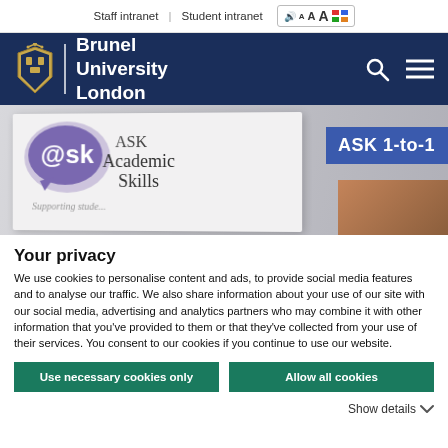Staff intranet | Student intranet
[Figure (logo): Brunel University London logo with crest on dark navy background, with search and menu icons]
[Figure (photo): Photo of ASK Academic Skills signage including a purple speech bubble logo with @sk text and an ASK 1-to-1 sign]
Your privacy
We use cookies to personalise content and ads, to provide social media features and to analyse our traffic. We also share information about your use of our site with our social media, advertising and analytics partners who may combine it with other information that you've provided to them or that they've collected from your use of their services. You consent to our cookies if you continue to use our website.
Use necessary cookies only
Allow all cookies
Show details